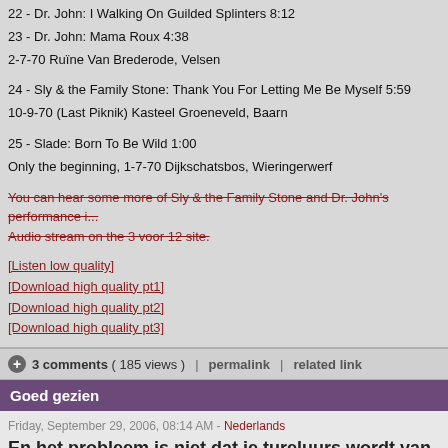22 - Dr. John: I Walking On Guilded Splinters 8:12
23 - Dr. John: Mama Roux 4:38
2-7-70 Ruïne Van Brederode, Velsen
24 - Sly & the Family Stone: Thank You For Letting Me Be Myself 5:59
10-9-70 (Last Piknik) Kasteel Groeneveld, Baarn
25 - Slade: Born To Be Wild 1:00
Only the beginning, 1-7-70 Dijkschatsbos, Wieringerwerf
[strikethrough] You can hear some more of Sly & the Family Stone and Dr. John's performance i... Audio stream on the 3 voor 12 site.
[Listen low quality]
[Download high quality pt1]
[Download high quality pt2]
[Download high quality pt3]
3 comments ( 185 views )   |   permalink   |   related link
Goed gezien
Friday, September 29, 2006, 08:14 AM - Nederlands
En het probleem is niet dat je tureluurs wordt van het st... naar zo'n klein schermpje?
Accenture: beperkte belangstelling mobiele TV
Televisie kijken op de mobiel is mogelijk, maar wllen [sic] mensen dat ook? Volgens ee... [sic] dat Accenture hield onder 10.000 consumenten in de USA, het Verenigd Koninkrijk... Japan en vijf andere landen laat zien dat de belangstelling beperkt is. Het laat zien dat...